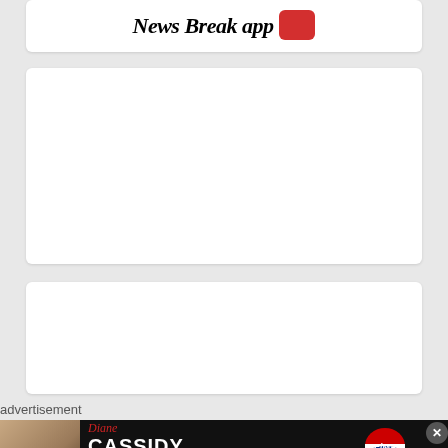[Figure (other): News Break app logo banner with italic bold text and red icon]
[Figure (other): White card / empty content area]
[Figure (other): White card / empty content area]
advertisement
[Figure (other): RE/MAX Success advertisement banner featuring Diane Cassidy Realtor with photo, contact details, RE/MAX balloon logo]